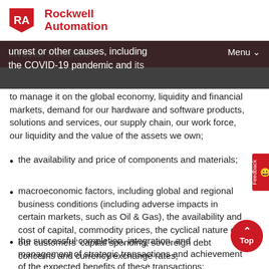Rockwell Automation — Investor Relations
unrest or other causes, including the COVID-19 pandemic and efforts to manage it on the global economy, liquidity and financial markets, demand for our hardware and software products, solutions and services, our supply chain, our work force, our liquidity and the value of the assets we own;
the availability and price of components and materials;
macroeconomic factors, including global and regional business conditions (including adverse impacts in certain markets, such as Oil & Gas), the availability and cost of capital, commodity prices, the cyclical nature of our customers' capital spending, sovereign debt concerns and currency exchange rates;
the successful completion, integration, and management of strategic transactions and achievement of the expected benefits of these transactions;